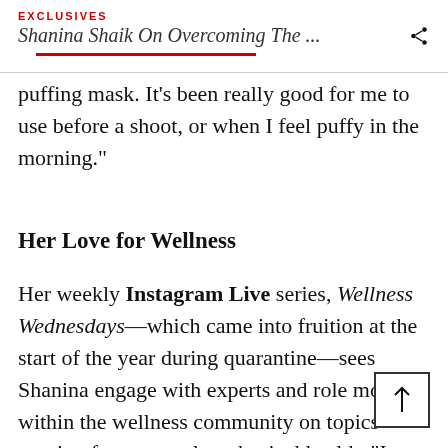EXCLUSIVES
Shanina Shaik On Overcoming The ...
puffing mask. It’s been really good for me to use before a shoot, or when I feel puffy in the morning."
Her Love for Wellness
Her weekly Instagram Live series, Wellness Wednesdays—which came into fruition at the start of the year during quarantine—sees Shanina engage with experts and role models within the wellness community on topics ranging from mental to physical health. “I really enjoy taking care of people and I also love showing my followers, family and friends, how to take care of themselves with my own personal advice," shares